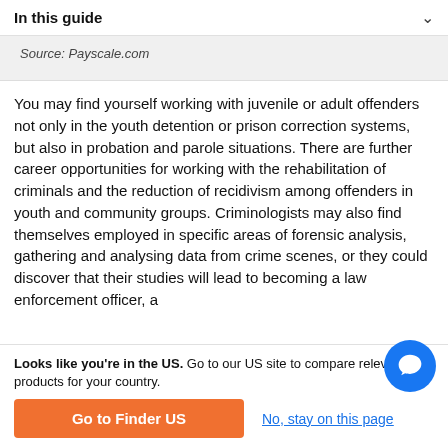In this guide
Source: Payscale.com
You may find yourself working with juvenile or adult offenders not only in the youth detention or prison correction systems, but also in probation and parole situations. There are further career opportunities for working with the rehabilitation of criminals and the reduction of recidivism among offenders in youth and community groups. Criminologists may also find themselves employed in specific areas of forensic analysis, gathering and analysing data from crime scenes, or they could discover that their studies will lead to becoming a law enforcement officer, a
Looks like you're in the US. Go to our US site to compare relevant products for your country.
Go to Finder US
No, stay on this page